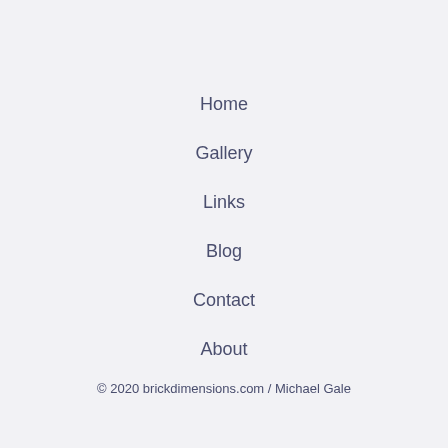Home
Gallery
Links
Blog
Contact
About
© 2020 brickdimensions.com / Michael Gale